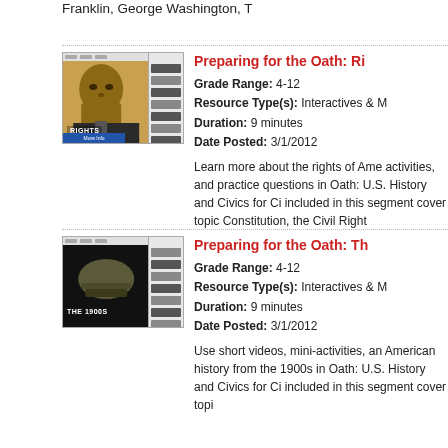Franklin, George Washington, T
[Figure (screenshot): Screenshot of 'Preparing for the Oath: Rights' interactive showing a stylized illustration of Martin Luther King Jr. with the word RIGHTS overlaid, alongside a sidebar with lesson items and a blue action bar.]
Preparing for the Oath: Ri...
Grade Range: 4-12
Resource Type(s): Interactives & M...
Duration: 9 minutes
Date Posted: 3/1/2012
Learn more about the rights of Ame... activities, and practice questions in... Oath: U.S. History and Civics for Ci... included in this segment cover topic... Constitution, the Civil Right
[Figure (screenshot): Screenshot of 'Preparing for the Oath: The 1900s' interactive showing a dark background with a military helmet and the text THE 1900S, alongside a sidebar with lesson items.]
Preparing for the Oath: Th...
Grade Range: 4-12
Resource Type(s): Interactives & M...
Duration: 9 minutes
Date Posted: 3/1/2012
Use short videos, mini-activities, an... American history from the 1900s in... Oath: U.S. History and Civics for Ci... included in this segment cover topi...